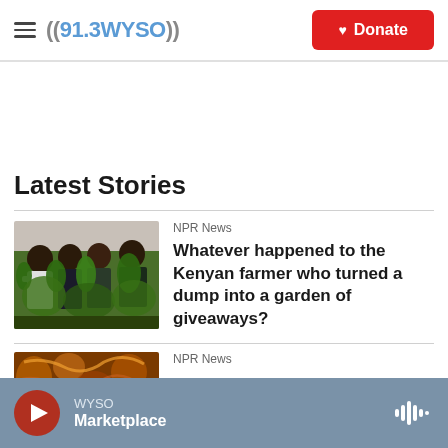((91.3 WYSO)) — Donate
Latest Stories
[Figure (photo): Group of people holding leafy green plants in a garden setting, Kenyan farmer story thumbnail]
NPR News
Whatever happened to the Kenyan farmer who turned a dump into a garden of giveaways?
[Figure (photo): Partial thumbnail with warm orange/brown tones, second story thumbnail]
NPR News
WYSO Marketplace — audio player bar with play button